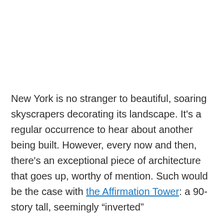New York is no stranger to beautiful, soaring skyscrapers decorating its landscape. It's a regular occurrence to hear about another being built. However, every now and then, there's an exceptional piece of architecture that goes up, worthy of mention. Such would be the case with the Affirmation Tower: a 90-story tall, seemingly “inverted”